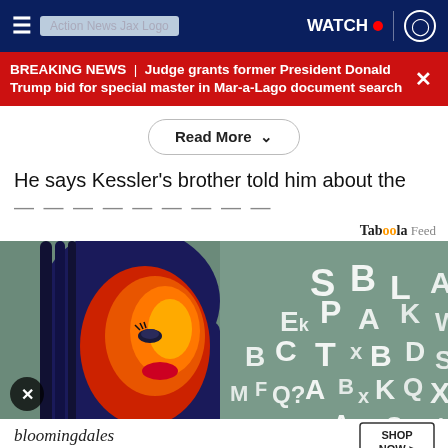≡  Action News Jax Logo  WATCH ● (profile icon)
BREAKING NEWS | Judge grants former President Donald Trump bid for special master in Mar-a-Lago document search
Read More ˅
He says Kessler's brother told him about the
Taboola Feed
[Figure (photo): Woman with artistic red and orange face paint, surrounded by scattered alphabet letters on a teal background. Bloomingdales advertisement at bottom: 'View Today's Top Deals! SHOP NOW >']